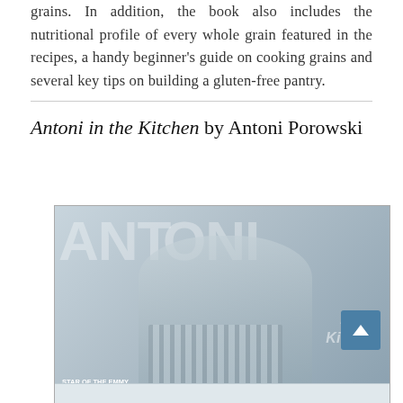grains. In addition, the book also includes the nutritional profile of every whole grain featured in the recipes, a handy beginner's guide on cooking grains and several key tips on building a gluten-free pantry.
Antoni in the Kitchen by Antoni Porowski
[Figure (photo): Book cover of 'Antoni in the Kitchen' featuring Antoni Porowski smiling, wearing a grey t-shirt with a striped apron, with large stylized text 'ANTONI' in the background and 'in the Kitchen' text overlay. Bottom left says 'Star of the Emmy Award-Winning']